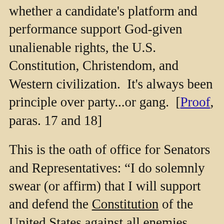whether a candidate's platform and performance support God-given unalienable rights, the U.S. Constitution, Christendom, and Western civilization.  It's always been principle over party...or gang.  [Proof, paras. 17 and 18]
This is the oath of office for Senators and Representatives: “I do solemnly swear (or affirm) that I will support and defend the Constitution of the United States against all enemies, foreign and domestic; that I will bear true faith and allegiance to the same; that I take this obligation freely, without any mental reservation or purpose of evasion; and that I will well and faithfully discharge the duties of the office on which I